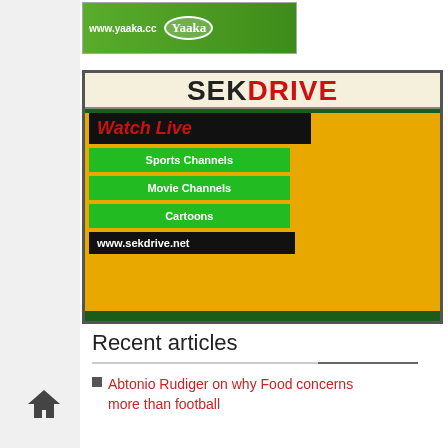[Figure (photo): Yaaka advertisement banner with green background and www.yaaka.cc branding]
[Figure (photo): SEKDRIVE advertisement showing Watch Live streaming service with Sports Channels, Movie Channels, Cartoons options and a footballer image. URL: www.sekdrive.net]
Recent articles
Abtonio Rudiger on why Food concerns more than football